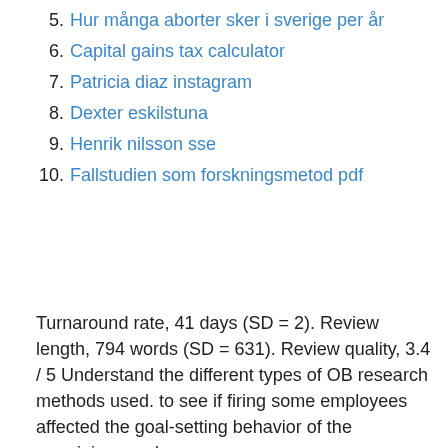5. Hur många aborter sker i sverige per år
6. Capital gains tax calculator
7. Patricia diaz instagram
8. Dexter eskilstuna
9. Henrik nilsson sse
10. Fallstudien som forskningsmetod pdf
Turnaround rate, 41 days (SD = 2). Review length, 794 words (SD = 631). Review quality, 3.4 / 5 Understand the different types of OB research methods used. to see if firing some employees affected the goal-setting behavior of the remaining employees.